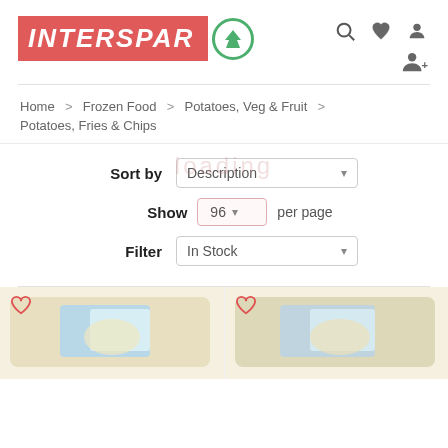[Figure (logo): INTERSPAR logo with red background and green circle tree icon]
[Figure (infographic): Header icons: search, heart/wishlist, user account, add user]
Home > Frozen Food > Potatoes, Veg & Fruit > Potatoes, Fries & Chips
loading
Sort by Description
Show 96 per page
Filter In Stock
[Figure (photo): Partial view of two frozen food product packages at bottom of page with heart/wishlist icons]